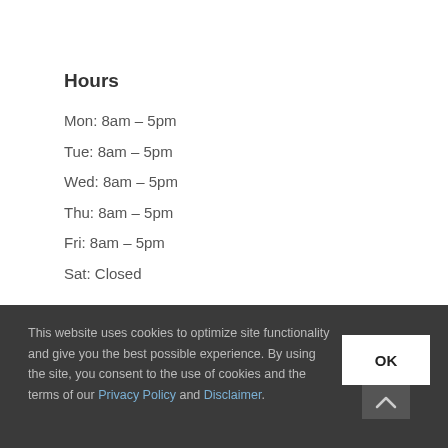Hours
Mon: 8am – 5pm
Tue: 8am – 5pm
Wed: 8am – 5pm
Thu: 8am – 5pm
Fri: 8am – 5pm
Sat: Closed
This website uses cookies to optimize site functionality and give you the best possible experience. By using the site, you consent to the use of cookies and the terms of our Privacy Policy and Disclaimer.